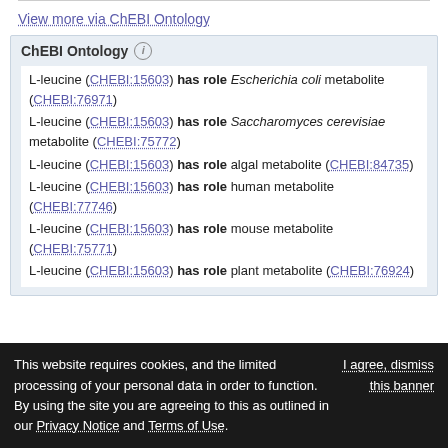View more via ChEBI Ontology
ChEBI Ontology
L-leucine (CHEBI:15603) has role Escherichia coli metabolite (CHEBI:76971)
L-leucine (CHEBI:15603) has role Saccharomyces cerevisiae metabolite (CHEBI:75772)
L-leucine (CHEBI:15603) has role algal metabolite (CHEBI:84735)
L-leucine (CHEBI:15603) has role human metabolite (CHEBI:77746)
L-leucine (CHEBI:15603) has role mouse metabolite (CHEBI:75771)
L-leucine (CHEBI:15603) has role plant metabolite (CHEBI:76924)
This website requires cookies, and the limited processing of your personal data in order to function. By using the site you are agreeing to this as outlined in our Privacy Notice and Terms of Use.